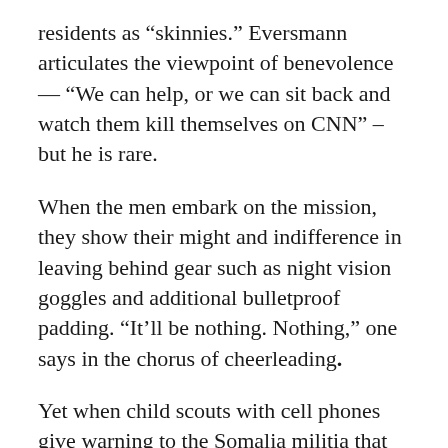residents as “skinnies.” Eversmann articulates the viewpoint of benevolence — “We can help, or we can sit back and watch them kill themselves on CNN” –but he is rare.
When the men embark on the mission, they show their might and indifference in leaving behind gear such as night vision goggles and additional bulletproof padding. “It’ll be nothing. Nothing,” one says in the chorus of cheerleading.
Yet when child scouts with cell phones give warning to the Somalia militia that the Americans are coming, immediately it begins to sink in how much the risks were seriously underestimated. In Mogadishu, rocket grenade